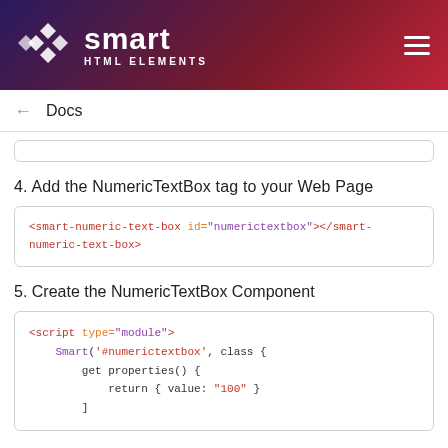[Figure (logo): Smart HTML Elements logo with diamond grid icon, brand name and tagline on dark gradient header]
Docs
4. Add the NumericTextBox tag to your Web Page
<smart-numeric-text-box id="numerictextbox"></smart-numeric-text-box>
5. Create the NumericTextBox Component
<script type="module">
    Smart('#numerictextbox', class {
        get properties() {
            return { value: "100" }
        }
    }